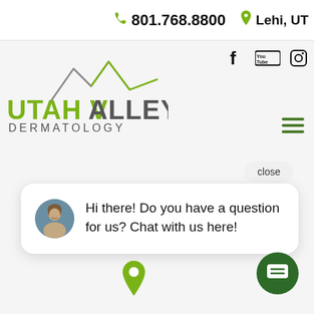801.768.8800   Lehi, UT
[Figure (logo): Utah Valley Dermatology logo with mountain/line graphic above green and gray text]
close
Hi there! Do you have a question for us? Chat with us here!